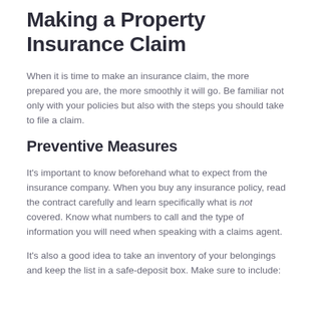Making a Property Insurance Claim
When it is time to make an insurance claim, the more prepared you are, the more smoothly it will go. Be familiar not only with your policies but also with the steps you should take to file a claim.
Preventive Measures
It's important to know beforehand what to expect from the insurance company. When you buy any insurance policy, read the contract carefully and learn specifically what is not covered. Know what numbers to call and the type of information you will need when speaking with a claims agent.
It's also a good idea to take an inventory of your belongings and keep the list in a safe-deposit box. Make sure to include: